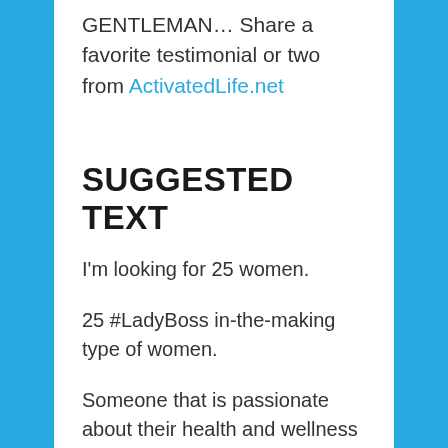GENTLEMAN… Share a favorite testimonial or two from ActivatedLife.net
SUGGESTED TEXT
I'm looking for 25 women.
25 #LadyBoss in-the-making type of women.
Someone that is passionate about their health and wellness and helping others and building her DREAMS!
? Someone that LOVES travels and DREAMS about a business where she